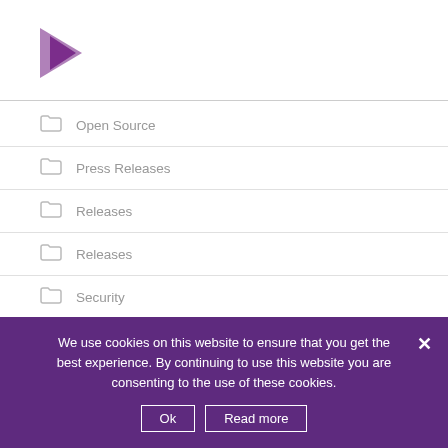[Figure (logo): Purple arrow/chevron logo pointing right]
Open Source
Press Releases
Releases
Releases
Security
Society
Success Story
Support
We use cookies on this website to ensure that you get the best experience. By continuing to use this website you are consenting to the use of these cookies.